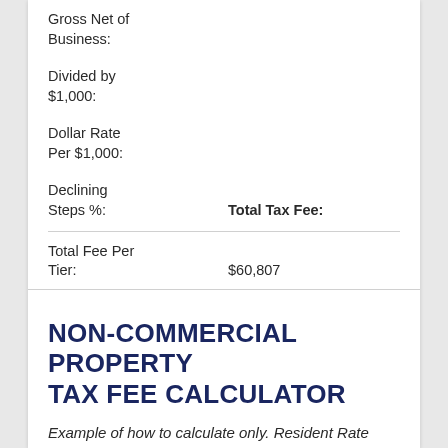Gross Net of Business:
Divided by $1,000:
Dollar Rate Per $1,000:
Declining Steps %:    Total Tax Fee:
Total Fee Per Tier:    $60,807
NON-COMMERCIAL PROPERTY TAX FEE CALCULATOR
Example of how to calculate only. Resident Rate Class 3 with $101,500,000 Gross.